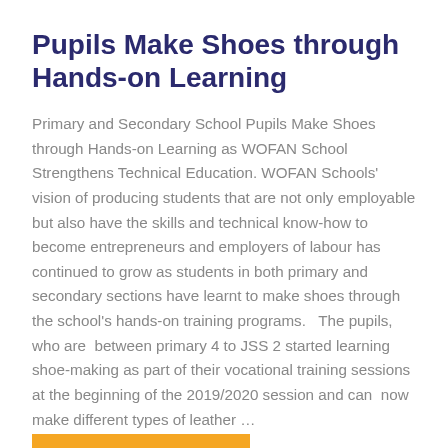Pupils Make Shoes through Hands-on Learning
Primary and Secondary School Pupils Make Shoes through Hands-on Learning as WOFAN School Strengthens Technical Education. WOFAN Schools' vision of producing students that are not only employable but also have the skills and technical know-how to become entrepreneurs and employers of labour has continued to grow as students in both primary and secondary sections have learnt to make shoes through the school's hands-on training programs.   The pupils, who are  between primary 4 to JSS 2 started learning shoe-making as part of their vocational training sessions at the beginning of the 2019/2020 session and can  now make different types of leather …